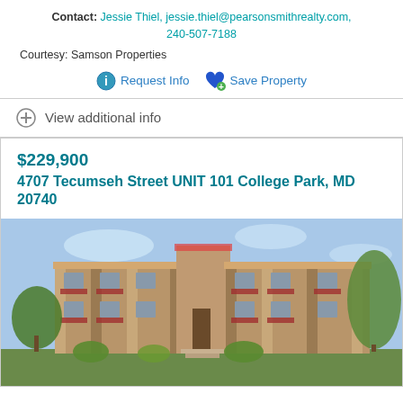Contact: Jessie Thiel, jessie.thiel@pearsonsmithrealty.com, 240-507-7188
Courtesy: Samson Properties
Request Info   Save Property
View additional info
$229,900
4707 Tecumseh Street UNIT 101 College Park, MD 20740
[Figure (photo): Exterior photo of a multi-story brick apartment building with balconies, green trees visible, and landscaping in the foreground]